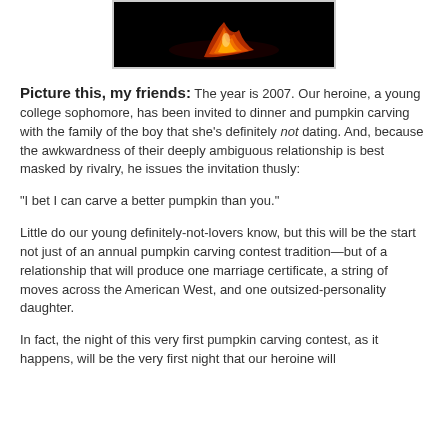[Figure (photo): Dark background image with orange glowing flame or ember shape visible against black background]
Picture this, my friends: The year is 2007. Our heroine, a young college sophomore, has been invited to dinner and pumpkin carving with the family of the boy that she's definitely not dating. And, because the awkwardness of their deeply ambiguous relationship is best masked by rivalry, he issues the invitation thusly:
"I bet I can carve a better pumpkin than you."
Little do our young definitely-not-lovers know, but this will be the start not just of an annual pumpkin carving contest tradition—but of a relationship that will produce one marriage certificate, a string of moves across the American West, and one outsized-personality daughter.
In fact, the night of this very first pumpkin carving contest, as it happens, will be the very first night that our heroine will